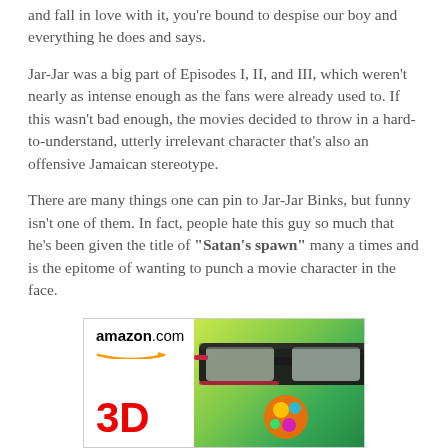and fall in love with it, you're bound to despise our boy and everything he does and says.
Jar-Jar was a big part of Episodes I, II, and III, which weren't nearly as intense enough as the fans were already used to. If this wasn't bad enough, the movies decided to throw in a hard-to-understand, utterly irrelevant character that's also an offensive Jamaican stereotype.
There are many things one can pin to Jar-Jar Binks, but funny isn't one of them. In fact, people hate this guy so much that he's been given the title of "Satan's spawn" many a times and is the epitome of wanting to punch a movie character in the face.
[Figure (other): Amazon.com advertisement showing 3D glasses and a chameleon with text '3D']